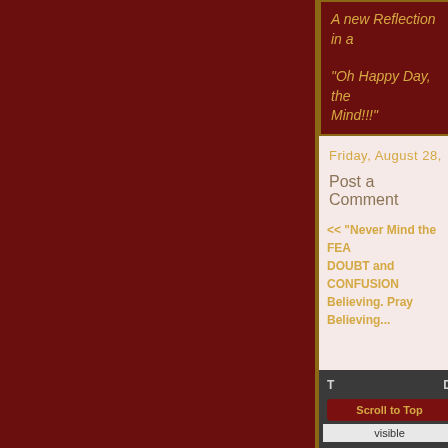A new Reflection in a
"Oh Happy Day, the ... Mind!!!"
Friday, August 28,
Post a Comment
<< "Never Mind the FEA... DOUBT and CONFUSION... Believing. Pray Believing..."
The C
T
Scroll to Top
visible